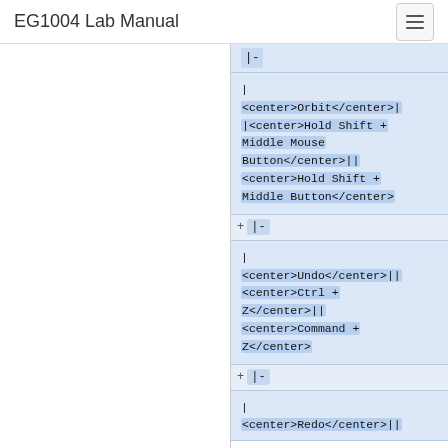EG1004 Lab Manual
|
<center>Orbit</center>|
|<center>Hold Shift + Middle Mouse Button</center>||
<center>Hold Shift + Middle Button</center>
|-
|
<center>Undo</center>||
<center>Ctrl + Z</center>||
<center>Command + Z</center>
|-
|
<center>Redo</center>||